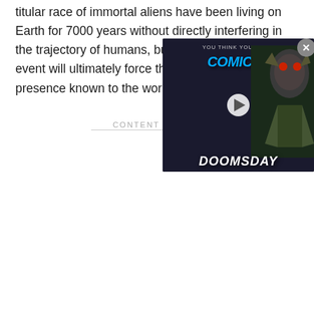titular race of immortal aliens have been living on Earth for 7000 years without directly interfering in the trajectory of humans, but some sort of major event will ultimately force their hand and make their presence known to the world.
[Figure (screenshot): Video player overlay showing 'You Think You Know Comics? Doomsday' with a monster/alien character on the right side and a play button in the center. Has a close (X) button in the top right corner.]
CONTENT CONTIN...